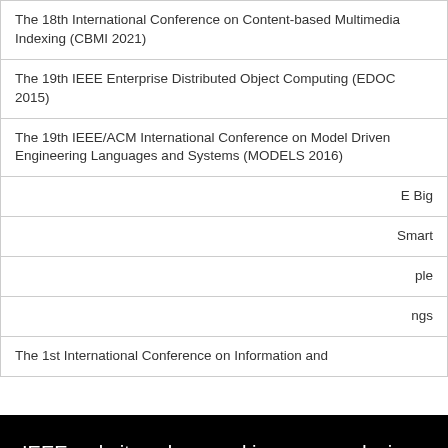| The 18th International Conference on Content-based Multimedia Indexing (CBMI 2021) |
| The 19th IEEE Enterprise Distributed Object Computing (EDOC 2015) |
| The 19th IEEE/ACM International Conference on Model Driven Engineering Languages and Systems (MODELS 2016) |
| …E Big |
| …Smart |
| …ple |
| …ngs |
| The 1st International Conference on Information and |
[Figure (screenshot): IEEE cookie consent overlay banner with text: 'IEEE websites place cookies on your device to give you the best user experience. By using our websites, you agree to the placement of these cookies. To learn more, read our Privacy Policy.' and an 'Accept & Close' button.]